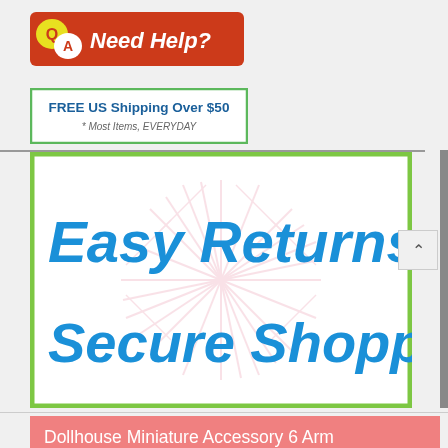[Figure (logo): Red 'Need Help?' banner with Q and A speech bubble icons and italic white text]
[Figure (infographic): Green-bordered white banner: 'FREE US Shipping Over $50 * Most Items, EVERYDAY']
[Figure (infographic): Green-bordered white box with pink starburst watermark, text: 'Easy Returns Secure Shopping' in bold blue italic]
Dollhouse Miniature Accessory 6 Arm Renaissance Crystal Chandelier LED Description